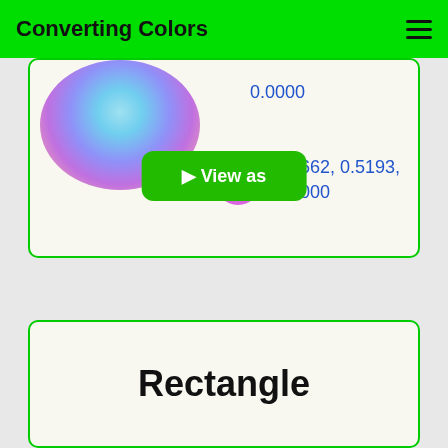Converting Colors
[Figure (illustration): Partial color wheel showing gradient from cyan/blue to purple/pink, cropped at top-left of card]
0.0000
0.0662, 0.5193, 0.0000
0.0000, 0.5774, 0.8519
⬤ View as
Rectangle